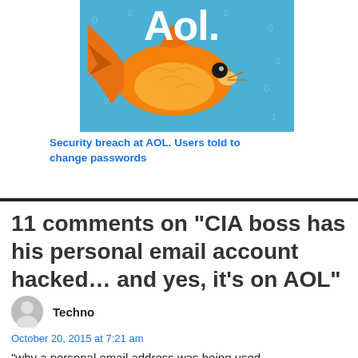[Figure (illustration): AOL logo with a goldfish on a blue digital background with floating numbers and letters]
Security breach at AOL. Users told to change passwords
11 comments on “CIA boss has his personal email account hacked… and yes, it’s on AOL”
Techno
October 20, 2015 at 7:21 am
"why a personal email address was being used